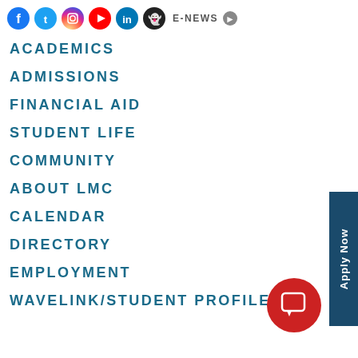Social media icons and E-NEWS link
ACADEMICS
ADMISSIONS
FINANCIAL AID
STUDENT LIFE
COMMUNITY
ABOUT LMC
CALENDAR
DIRECTORY
EMPLOYMENT
WAVELINK/STUDENT PROFILE
[Figure (other): Apply Now vertical sidebar button in dark blue]
[Figure (other): Red circular chat/message button]